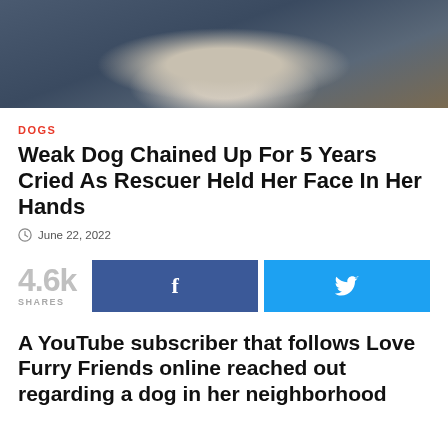[Figure (photo): Close-up photo of a dog wearing a collar, with blurred outdoor background in blue and brown tones]
DOGS
Weak Dog Chained Up For 5 Years Cried As Rescuer Held Her Face In Her Hands
June 22, 2022
4.6k SHARES
A YouTube subscriber that follows Love Furry Friends online reached out regarding a dog in her neighborhood